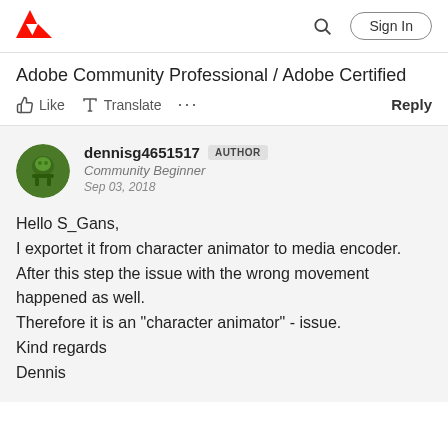[Figure (logo): Adobe logo (red A with wing shape)]
Sign In
Adobe Community Professional / Adobe Certified
Like  Translate  ...  Reply
[Figure (photo): User avatar for dennisg4651517 - green circular avatar]
dennisg4651517  AUTHOR
Community Beginner
Sep 03, 2018
Hello S_Gans,
I exportet it from character animator to media encoder. After this step the issue with the wrong movement happened as well.
Therefore it is an "character animator" - issue.
Kind regards
Dennis